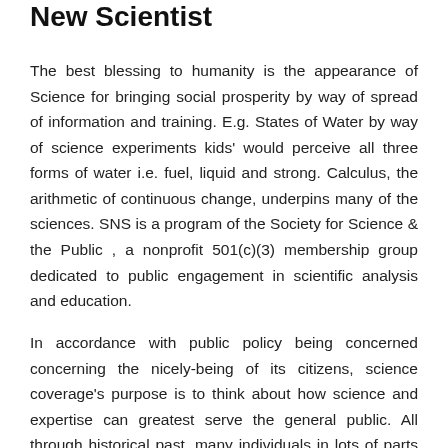New Scientist
The best blessing to humanity is the appearance of Science for bringing social prosperity by way of spread of information and training. E.g. States of Water by way of science experiments kids' would perceive all three forms of water i.e. fuel, liquid and strong. Calculus, the arithmetic of continuous change, underpins many of the sciences. SNS is a program of the Society for Science & the Public , a nonprofit 501(c)(3) membership group dedicated to public engagement in scientific analysis and education.
In accordance with public policy being concerned concerning the nicely-being of its citizens, science coverage's purpose is to think about how science and expertise can greatest serve the general public. All through historical past, many individuals in lots of parts of the world have studied nature with out using the scientific